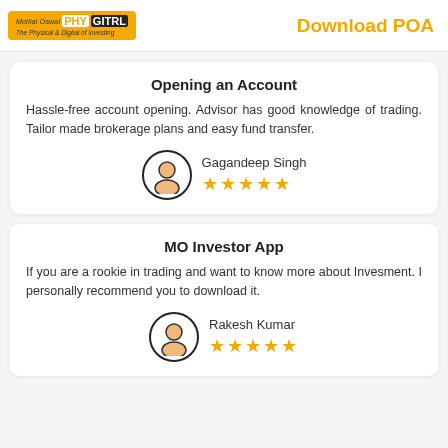Motilal Oswal PHYGITRL - The Physical & Digital of Investing | Download POA
Opening an Account
Hassle-free account opening. Advisor has good knowledge of trading. Tailor made brokerage plans and easy fund transfer.
Gagandeep Singh ★★★★★
MO Investor App
If you are a rookie in trading and want to know more about Invesment. I personally recommend you to download it.
Rakesh Kumar ★★★★★